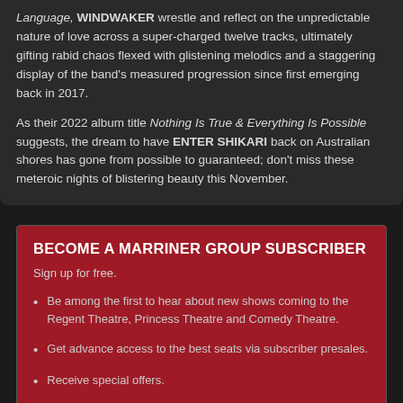Language, WINDWAKER wrestle and reflect on the unpredictable nature of love across a super-charged twelve tracks, ultimately gifting rabid chaos flexed with glistening melodics and a staggering display of the band's measured progression since first emerging back in 2017.
As their 2022 album title Nothing Is True & Everything Is Possible suggests, the dream to have ENTER SHIKARI back on Australian shores has gone from possible to guaranteed; don't miss these meteroic nights of blistering beauty this November.
BECOME A MARRINER GROUP SUBSCRIBER
Sign up for free.
Be among the first to hear about new shows coming to the Regent Theatre, Princess Theatre and Comedy Theatre.
Get advance access to the best seats via subscriber presales.
Receive special offers.